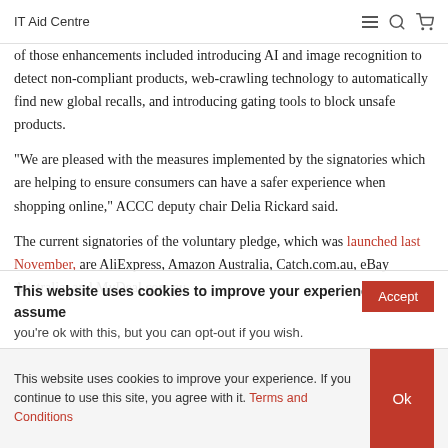IT Aid Centre
of those enhancements included introducing AI and image recognition to detect non-compliant products, web-crawling technology to automatically find new global recalls, and introducing gating tools to block unsafe products.
“We are pleased with the measures implemented by the signatories which are helping to ensure consumers can have a safer experience when shopping online,” ACCC deputy chair Delia Rickard said.
The current signatories of the voluntary pledge, which was launched last November, are AliExpress, Amazon Australia, Catch.com.au, eBay Australia, and MyDeal.com.au.
This website uses cookies to improve your experience. We’ll assume you’re ok with this, but you can opt-out if you wish.
This website uses cookies to improve your experience. If you continue to use this site, you agree with it. Terms and Conditions